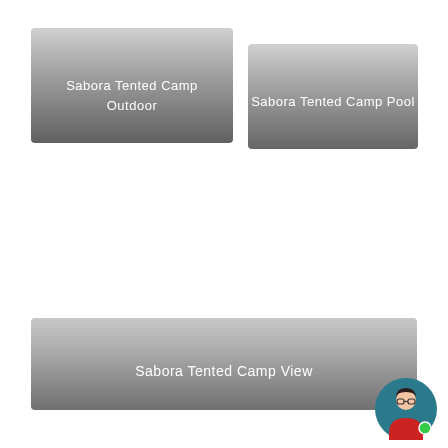[Figure (photo): Sabora Tented Camp Outdoor - gray gradient placeholder image with text label]
[Figure (photo): Sabora Tented Camp Pool - gray gradient placeholder image with text label]
[Figure (photo): Sabora Tented Camp View - wide gray gradient placeholder image with text label]
[Figure (illustration): Female avatar icon with teal/dark background, glasses, red top, with green online indicator dot]